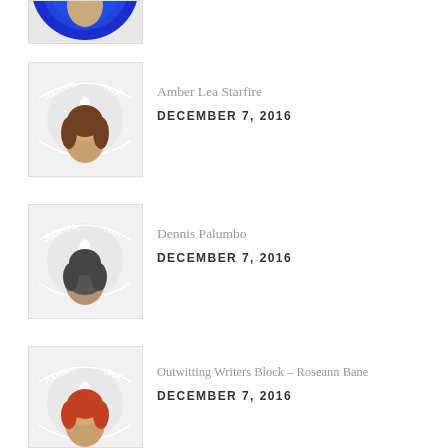[Figure (photo): Partial Journal Talk logo/thumbnail at top of page, cropped]
[Figure (logo): Journal Talk circular logo with woman's headshot (Amber Lea Starfire)]
Amber Lea Starfire
DECEMBER 7, 2016
[Figure (logo): Journal Talk circular logo with man's headshot (Dennis Palumbo)]
Dennis Palumbo
DECEMBER 7, 2016
[Figure (logo): Journal Talk circular logo with woman's headshot (Roseann Bane)]
Outwitting Writers Block – Roseann Bane
DECEMBER 7, 2016